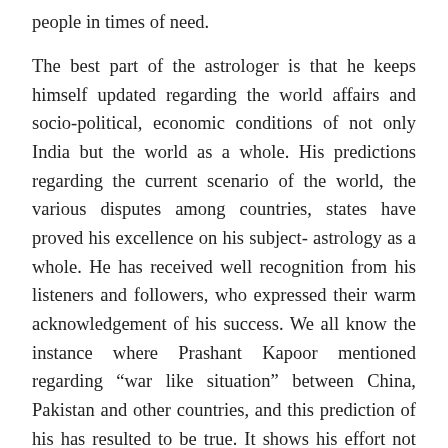people in times of need.
The best part of the astrologer is that he keeps himself updated regarding the world affairs and socio-political, economic conditions of not only India but the world as a whole. His predictions regarding the current scenario of the world, the various disputes among countries, states have proved his excellence on his subject- astrology as a whole. He has received well recognition from his listeners and followers, who expressed their warm acknowledgement of his success. We all know the instance where Prashant Kapoor mentioned regarding “war like situation” between China, Pakistan and other countries, and this prediction of his has resulted to be true. It shows his effort not only to enhance his expertise but also to update his country people regarding the outcome of current situations. By nature he is modest and always feels rejuvenated after serving people